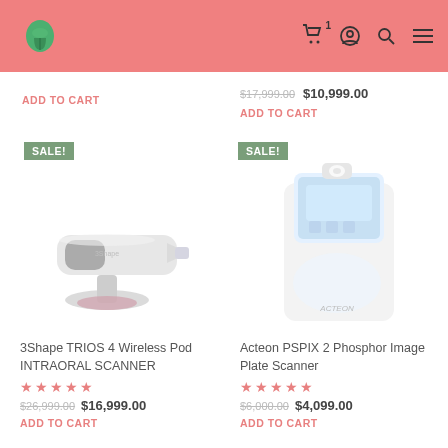Dental e-commerce site header with tooth logo and cart/account/search/menu icons
ADD TO CART
$17,999.00  $10,999.00
ADD TO CART
[Figure (photo): 3Shape TRIOS 4 Wireless Pod Intraoral Scanner with SALE badge]
[Figure (photo): Acteon PSPIX 2 Phosphor Image Plate Scanner with SALE badge]
3Shape TRIOS 4 Wireless Pod INTRAORAL SCANNER
★★★★★
$26,999.00  $16,999.00
ADD TO CART
Acteon PSPIX 2 Phosphor Image Plate Scanner
★★★★★
$6,000.00  $4,099.00
ADD TO CART